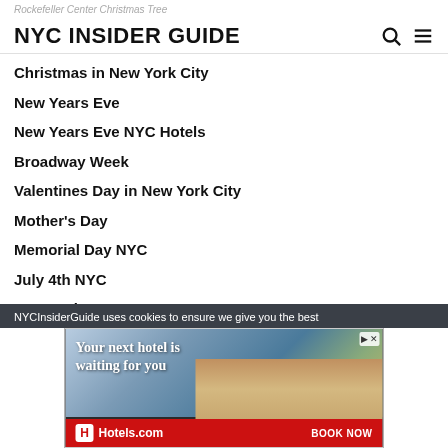Rockefeller Center Christmas Tree
NYC INSIDER GUIDE
Christmas in New York City
New Years Eve
New Years Eve NYC Hotels
Broadway Week
Valentines Day in New York City
Mother's Day
Memorial Day NYC
July 4th NYC
US Tennis Open
NYCInsiderGuide uses cookies to ensure we give you the best
[Figure (screenshot): Hotels.com advertisement banner: 'Your next hotel is waiting for you' with hotel/resort photo background and BOOK NOW button]